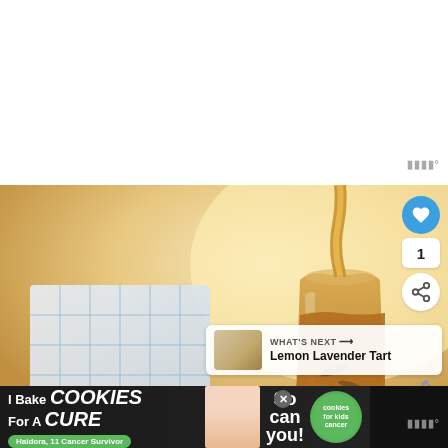[Figure (photo): White/blank area at top of page, likely above-the-fold placeholder]
[Figure (photo): Food photography showing golden honey or syrup being poured into a glass jar, with a blue/white checkered cloth in the background. Social interaction buttons (heart, share) on right side. 'WHAT'S NEXT - Lemon Lavender Tart' recommendation panel visible.]
[Figure (photo): Advertisement banner: 'I Bake COOKIES For A CURE' with Haidora, 11 Cancer Survivor. 'So can you!' text with cookies for kids cancer logo. Close button visible.]